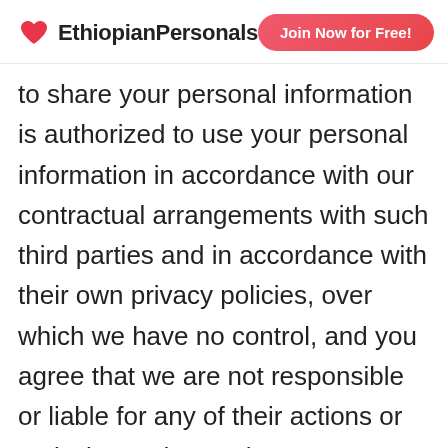EthiopianPersonals | Join Now for Free!
to share your personal information is authorized to use your personal information in accordance with our contractual arrangements with such third parties and in accordance with their own privacy policies, over which we have no control, and you agree that we are not responsible or liable for any of their actions or omissions. Those who contact you will need to be instructed directly by you regarding your preferences for the use of your personal information by them.